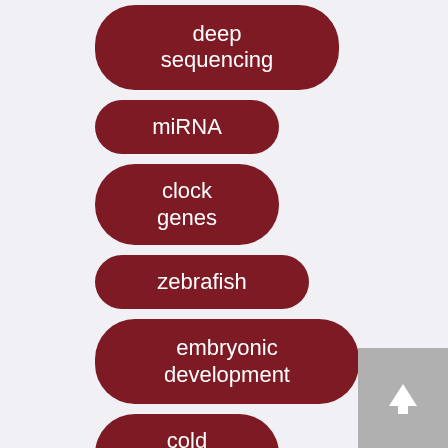deep sequencing
miRNA
clock genes
zebrafish
embryonic development
cold stress
jasmonate response
far-red
[Figure (other): Scroll-to-top button (grey square with upward arrow)]